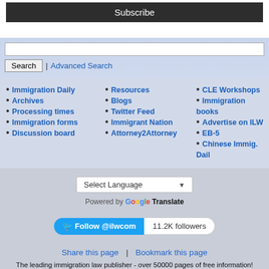Subscribe
Search | Advanced Search
• Immigration Daily
• Archives
• Processing times
• Immigration forms
• Discussion board
• Resources
• Blogs
• Twitter Feed
• Immigrant Nation
• Attorney2Attorney
• CLE Workshops
• Immigration books
• Advertise on ILW
• EB-5
• Chinese Immig. Dail
Select Language
Powered by Google Translate
Follow @ilwcom  11.2K followers
Share this page | Bookmark this page
The leading immigration law publisher - over 50000 pages of free information! © Copyright 1995-2022 American Immigration LLC, ILW.COM spacer.gif